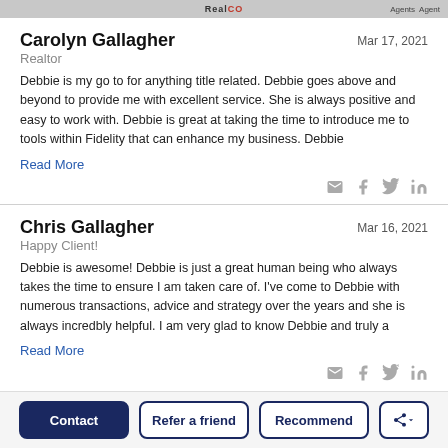RealCO  Agents  Agent
Carolyn Gallagher
Realtor
Mar 17, 2021
Debbie is my go to for anything title related. Debbie goes above and beyond to provide me with excellent service. She is always positive and easy to work with. Debbie is great at taking the time to introduce me to tools within Fidelity that can enhance my business. Debbie
Read More
Chris Gallagher
Happy Client!
Mar 16, 2021
Debbie is awesome! Debbie is just a great human being who always takes the time to ensure I am taken care of. I've come to Debbie with numerous transactions, advice and strategy over the years and she is always incredbly helpful. I am very glad to know Debbie and truly a
Read More
Contact  Refer a friend  Recommend  Share